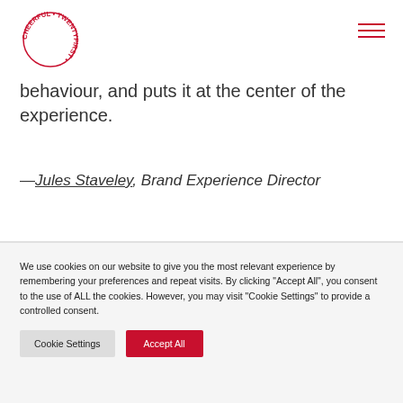[Figure (logo): Cheerful Twenty First circular logo in red text on white background]
behaviour, and puts it at the center of the experience.
—Jules Staveley, Brand Experience Director
We use cookies on our website to give you the most relevant experience by remembering your preferences and repeat visits. By clicking "Accept All", you consent to the use of ALL the cookies. However, you may visit "Cookie Settings" to provide a controlled consent.